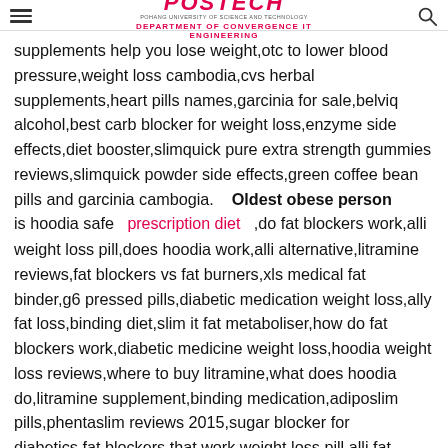POSTECH — DEPARTMENT OF CONVERGENCE IT ENGINEERING
supplements help you lose weight,otc to lower blood pressure,weight loss cambodia,cvs herbal supplements,heart pills names,garcinia for sale,belviq alcohol,best carb blocker for weight loss,enzyme side effects,diet booster,slimquick pure extra strength gummies reviews,slimquick powder side effects,green coffee bean pills and garcinia cambogia.    Oldest obese person is hoodia safe    prescription diet    ,do fat blockers work,alli weight loss pill,does hoodia work,alli alternative,litramine reviews,fat blockers vs fat burners,xls medical fat binder,g6 pressed pills,diabetic medication weight loss,ally fat loss,binding diet,slim it fat metaboliser,how do fat blockers work,diabetic medicine weight loss,hoodia weight loss reviews,where to buy litramine,what does hoodia do,litramine supplement,binding medication,adiposlim pills,phentaslim reviews 2015,sugar blocker for diabetics,fat blockers that work,weight loss pill alli,fat blockers it works,pill binding agents,sugar blocker pills review,alli